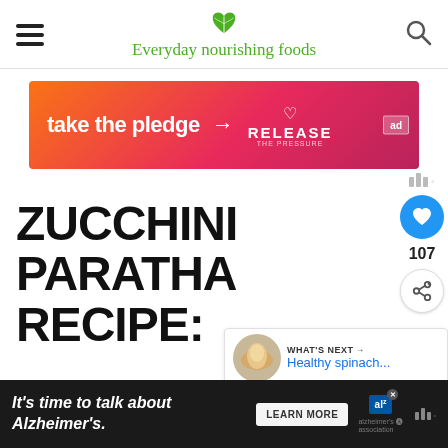Everyday nourishing foods
[Figure (infographic): Ad banner: 'take the pledge' with arrow, RELEASE branding and ad tag]
ZUCCHINI PARATHA RECIPE:
107
WHAT'S NEXT → Healthy spinach...
Recommended
[Figure (infographic): Bottom ad banner: It's time to talk about Alzheimer's. LEARN MORE button, Alzheimer's Association logo]